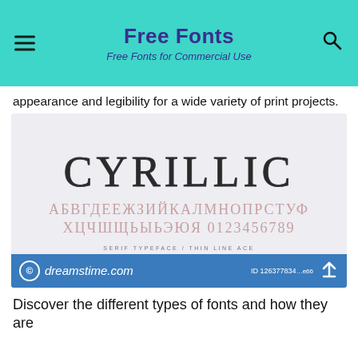Free Fonts
Free Fonts for Commercial Use
appearance and legibility for a wide variety of print projects.
[Figure (illustration): Font specimen image showing 'CYRILLIC' in thin serif typeface with Cyrillic alphabet characters below it and the label 'SERIF TYPEFACE / THIN LINE ACE'. Watermarked with dreamstime.com logo and ID 126377834.]
Discover the different types of fonts and how they are